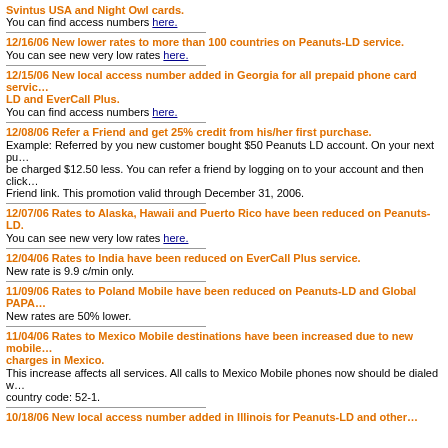Svintus USA and Night Owl cards. You can find access numbers here.
12/16/06 New lower rates to more than 100 countries on Peanuts-LD service.
You can see new very low rates here.
12/15/06 New local access number added in Georgia for all prepaid phone card services including Peanuts-LD and EverCall Plus.
You can find access numbers here.
12/08/06 Refer a Friend and get 25% credit from his/her first purchase.
Example: Referred by you new customer bought $50 Peanuts LD account. On your next purchase you will be charged $12.50 less. You can refer a friend by logging on to your account and then clicking Refer a Friend link. This promotion valid through December 31, 2006.
12/07/06 Rates to Alaska, Hawaii and Puerto Rico have been reduced on Peanuts-LD.
You can see new very low rates here.
12/04/06 Rates to India have been reduced on EverCall Plus service.
New rate is 9.9 c/min only.
11/09/06 Rates to Poland Mobile have been reduced on Peanuts-LD and Global PAPA.
New rates are 50% lower.
11/04/06 Rates to Mexico Mobile destinations have been increased due to new mobile charges in Mexico.
This increase affects all services. All calls to Mexico Mobile phones now should be dialed with country code: 52-1.